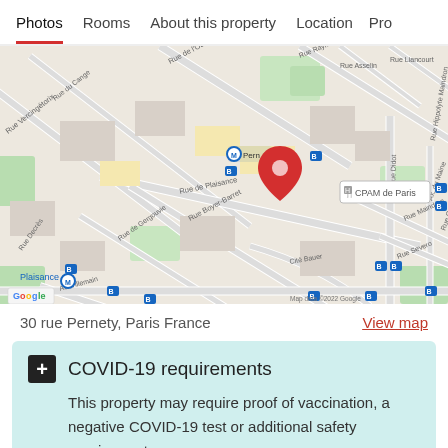Photos  Rooms  About this property  Location  Pro
[Figure (map): Google Maps view of Paris neighborhood showing 30 rue Pernety area with streets including Rue Vercingétorix, Rue de Plaisance, Rue Boyer-Barret, Rue de Gergouvie, Av. Villemain, Rue Didot, Rue Maindron, Rue Sèvero, Cité Bauer. Shows a red location pin, Metro stations (Pernety M and Plaisance M), CPAM de Paris marker. Map data ©2022 Google.]
30 rue Pernety, Paris France
View map
COVID-19 requirements
This property may require proof of vaccination, a negative COVID-19 test or additional safety requirements.